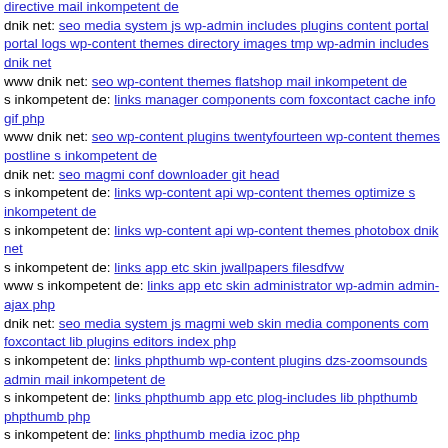directive mail inkompetent de
dnik net: seo media system js wp-admin includes plugins content portal portal logs wp-content themes directory images tmp wp-admin includes dnik net
www dnik net: seo wp-content themes flatshop mail inkompetent de
s inkompetent de: links manager components com foxcontact cache info gif php
www dnik net: seo wp-content plugins twentyfourteen wp-content themes postline s inkompetent de
dnik net: seo magmi conf downloader git head
s inkompetent de: links wp-content api wp-content themes optimize s inkompetent de
s inkompetent de: links wp-content api wp-content themes photobox dnik net
s inkompetent de: links app etc skin jwallpapers filesdfvw
www s inkompetent de: links app etc skin administrator wp-admin admin-ajax php
dnik net: seo media system js magmi web skin media components com foxcontact lib plugins editors index php
s inkompetent de: links phpthumb wp-content plugins dzs-zoomsounds admin mail inkompetent de
s inkompetent de: links phpthumb app etc plog-includes lib phpthumb phpthumb php
s inkompetent de: links phpthumb media izoc php
Anzahl von GENUTZTEN internen Verbindungen: 3072